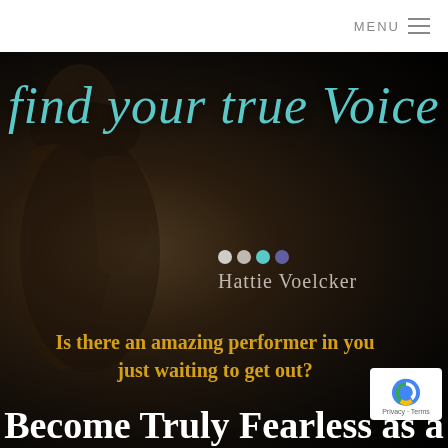MENU ≡
[Figure (photo): Dark hero background with blurred figure/silhouette on the left and handwritten teal text 'find your true Voice' overlaid, with author name 'Hattie Voelcker' below]
find your true Voice
Hattie Voelcker
Is there an amazing performer in you just waiting to get out?
Become Truly Fearless as a